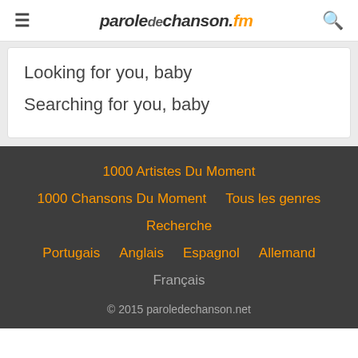parole de chanson.fm
Looking for you, baby
Searching for you, baby
1000 Artistes Du Moment
1000 Chansons Du Moment    Tous les genres
Recherche
Portugais    Anglais    Espagnol    Allemand
Français
© 2015 paroledechanson.net